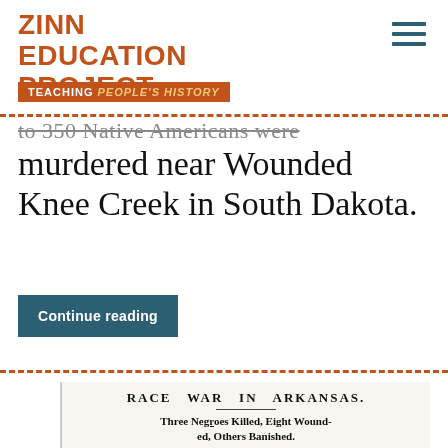ZINN EDUCATION PROJECT — TEACHING PEOPLE'S HISTORY
to 350 Native Americans were murdered near Wounded Knee Creek in South Dakota.
Continue reading
[Figure (screenshot): Newspaper clipping with headline RACE WAR IN ARKANSAS. Subheadline: Three Negroes Killed, Eight Wounded, Others Banished. Body text: TEXARKANA, Ark., Aug. 9.—The race war in Polk County has broken out in earnest, and as a result of the first battle three]